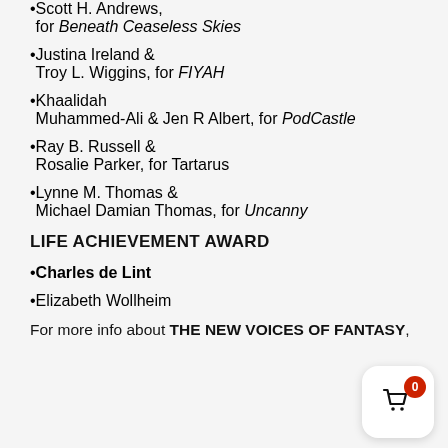Scott H. Andrews, for Beneath Ceaseless Skies
Justina Ireland & Troy L. Wiggins, for FIYAH
Khaalidah Muhammed-Ali & Jen R Albert, for PodCastle
Ray B. Russell & Rosalie Parker, for Tartarus
Lynne M. Thomas & Michael Damian Thomas, for Uncanny
LIFE ACHIEVEMENT AWARD
Charles de Lint
Elizabeth Wollheim
For more info about THE NEW VOICES OF FANTASY,